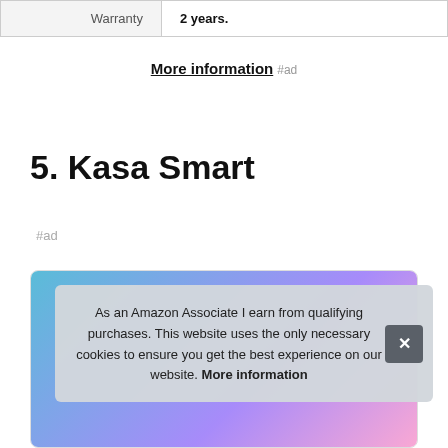| Warranty | 2 years. |
More information #ad
5. Kasa Smart
#ad
[Figure (other): Product card showing a Kasa Smart device, partially visible, with gradient background (blue/purple/pink).]
As an Amazon Associate I earn from qualifying purchases. This website uses the only necessary cookies to ensure you get the best experience on our website. More information